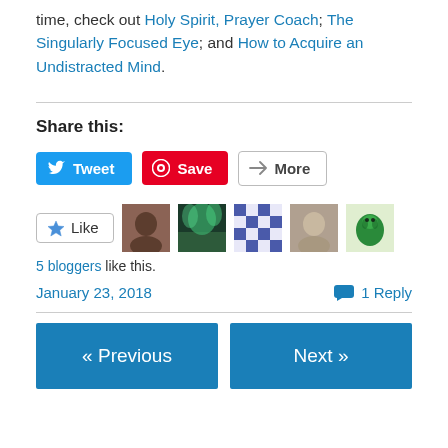time, check out Holy Spirit, Prayer Coach; The Singularly Focused Eye; and How to Acquire an Undistracted Mind.
Share this:
[Figure (infographic): Social share buttons: Tweet (Twitter/blue), Save (Pinterest/red), More (grey outline)]
[Figure (infographic): Like button with star icon and 5 blogger avatar images]
5 bloggers like this.
January 23, 2018
1 Reply
« Previous
Next »